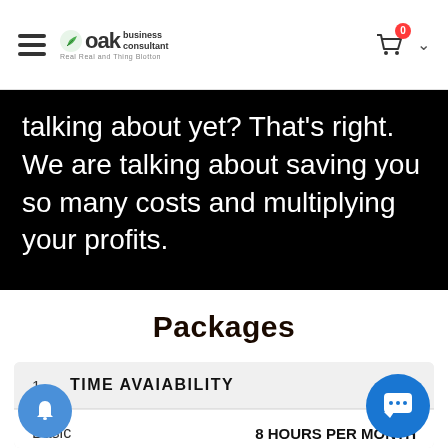OAK Business Consultant — Navigation bar with logo, cart (0)
talking about yet? That's right. We are talking about saving you so many costs and multiplying your profits.
Packages
|  | 1 | TIME AVAIABILITY |
| --- | --- | --- |
| Basic |  | 8 HOURS PER MONTH |